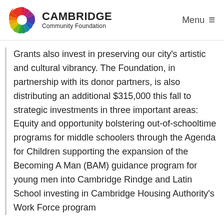CAMBRIDGE Community Foundation | Menu
Grants also invest in preserving our city's artistic and cultural vibrancy. The Foundation, in partnership with its donor partners, is also distributing an additional $315,000 this fall to strategic investments in three important areas: Equity and opportunity bolstering out-of-schooltime programs for middle schoolers through the Agenda for Children supporting the expansion of the Becoming A Man (BAM) guidance program for young men into Cambridge Rindge and Latin School investing in Cambridge Housing Authority's Work Force program